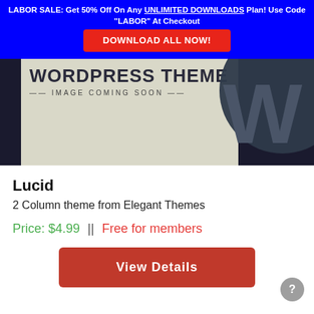LABOR SALE: Get 50% Off On Any UNLIMITED DOWNLOADS Plan! Use Code "LABOR" At Checkout
DOWNLOAD ALL NOW!
[Figure (illustration): WordPress theme placeholder image with 'WORDPRESS THEME - IMAGE COMING SOON' text over a beige background and large dark WordPress 'W' logo on the right]
Lucid
2 Column theme from Elegant Themes
Price: $4.99 || Free for members
View Details